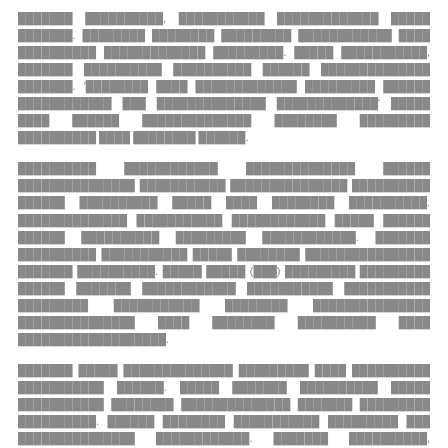Redacted paragraph 1: Multiple lines of redacted legal text with placeholder block characters throughout the paragraph content including quoted redacted text portions.
Redacted paragraph 2: Extended redacted legal text spanning multiple lines with a parenthetical reference (xxx) in the middle of the content, continuing with additional redacted content.
Redacted paragraph 3: Further redacted legal text spanning multiple lines of content with various redacted terms and provisions throughout the paragraph.